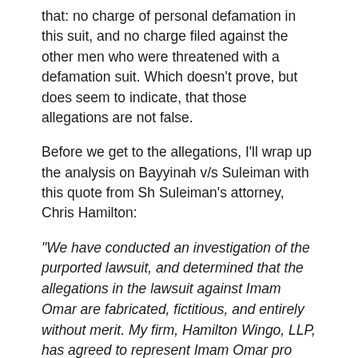that: no charge of personal defamation in this suit, and no charge filed against the other men who were threatened with a defamation suit. Which doesn't prove, but does seem to indicate, that those allegations are not false.
Before we get to the allegations, I'll wrap up the analysis on Bayyinah v/s Suleiman with this quote from Sh Suleiman's attorney, Chris Hamilton:
"We have conducted an investigation of the purported lawsuit, and determined that the allegations in the lawsuit against Imam Omar are fabricated, fictitious, and entirely without merit. My firm, Hamilton Wingo, LLP, has agreed to represent Imam Omar pro bono (for free) in this case. We are prepared, if necessary, to fight these unjust allegations with every resource available and for as long as it takes, in defense of the victims.
We could be aware to both these and more. If so, let them d...